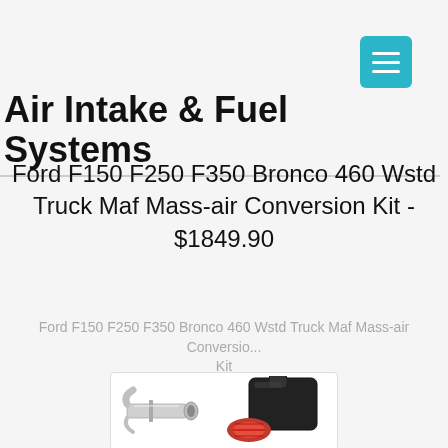[Figure (screenshot): Hamburger menu button (teal/cyan square with three white horizontal lines) in top-right corner]
Air Intake & Fuel Systems
Ford F150 F250 F350 Bronco 460 Wstd Truck Maf Mass-air Conversion Kit - $1849.90
Ford F150 F250 F350 Bronco 460 Wstd Truck Maf Mass-air Conversion Kit
[Figure (photo): Product photo showing a chrome exhaust pipe tip on the left and a black air intake system with red filter on the right, on white background]